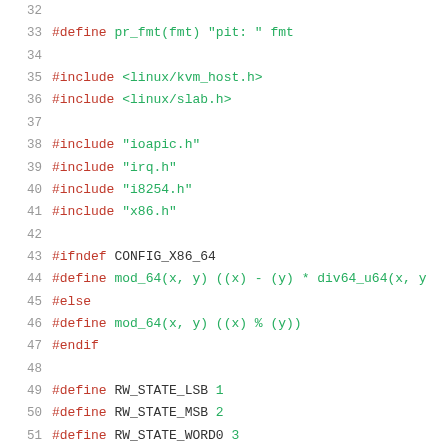[Figure (screenshot): Source code listing lines 32-52 of a C header/source file with syntax highlighting. Shows preprocessor directives including #define, #include, #ifndef, #else, #endif for a Linux KVM pit (programmable interval timer) implementation.]